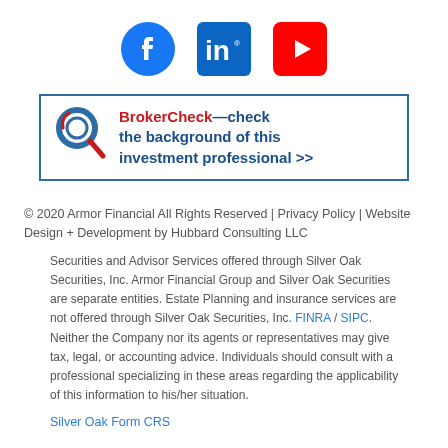[Figure (illustration): Three social media icons: Facebook (blue circle with white F), LinkedIn (blue square with white IN), YouTube (red rectangle with white play button triangle)]
[Figure (illustration): BrokerCheck banner with magnifying glass logo on left. Text reads: BrokerCheck—check the background of this investment professional >>. Blue border box.]
© 2020 Armor Financial All Rights Reserved | Privacy Policy | Website Design + Development by Hubbard Consulting LLC
Securities and Advisor Services offered through Silver Oak Securities, Inc. Armor Financial Group and Silver Oak Securities are separate entities. Estate Planning and insurance services are not offered through Silver Oak Securities, Inc. FINRA / SIPC. Neither the Company nor its agents or representatives may give tax, legal, or accounting advice. Individuals should consult with a professional specializing in these areas regarding the applicability of this information to his/her situation.
Silver Oak Form CRS